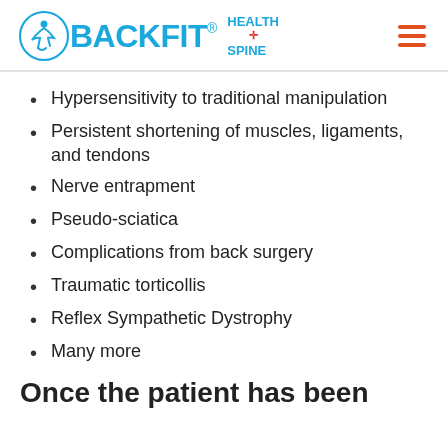[Figure (logo): BackFit Health + Spine logo with circle icon, blue text, and hamburger menu icon]
Hypersensitivity to traditional manipulation
Persistent shortening of muscles, ligaments, and tendons
Nerve entrapment
Pseudo-sciatica
Complications from back surgery
Traumatic torticollis
Reflex Sympathetic Dystrophy
Many more
Once the patient has been